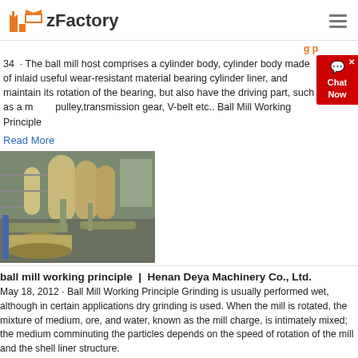zFactory
34 · The ball mill host comprises a cylinder body, cylinder body made of inlaid useful wear-resistant material bearing cylinder liner, and maintain its rotation of the bearing, but also have the driving part, such as a motor, pulley,transmission gear, V-belt etc.. Ball Mill Working Principle
Read More
[Figure (photo): Industrial ball mill machinery equipment inside a factory setting, showing large cylindrical yellow/cream colored equipment with connecting pipes and structural supports.]
ball mill working principle | Henan Deya Machinery Co., Ltd.
May 18, 2012 · Ball Mill Working Principle Grinding is usually performed wet, although in certain applications dry grinding is used. When the mill is rotated, the mixture of medium, ore, and water, known as the mill charge, is intimately mixed; the medium comminuting the particles depends on the speed of rotation of the mill and the shell liner structure.